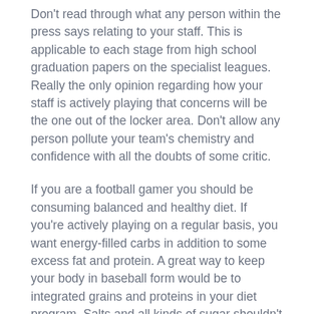Don't read through what any person within the press says relating to your staff. This is applicable to each stage from high school graduation papers on the specialist leagues. Really the only opinion regarding how your staff is actively playing that concerns will be the one out of the locker area. Don't allow any person pollute your team's chemistry and confidence with all the doubts of some critic.
If you are a football gamer you should be consuming balanced and healthy diet. If you're actively playing on a regular basis, you want energy-filled carbs in addition to some excess fat and protein. A great way to keep your body in baseball form would be to integrated grains and proteins in your diet program. Salts and all kinds of sugar shouldn't be employed that usually.